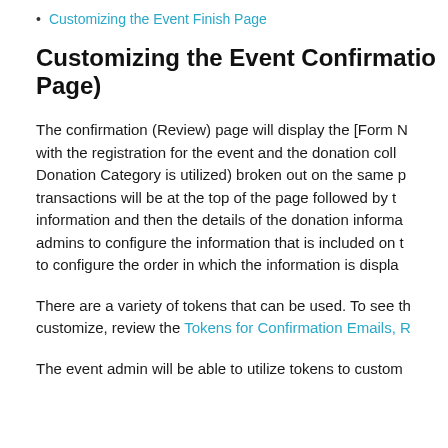Customizing the Event Finish Page
Customizing the Event Confirmation Page)
The confirmation (Review) page will display the [Form N with the registration for the event and the donation coll Donation Category is utilized) broken out on the same p transactions will be at the top of the page followed by t information and then the details of the donation informa admins to configure the information that is included on t to configure the order in which the information is displa
There are a variety of tokens that can be used. To see th customize, review the Tokens for Confirmation Emails, R
The event admin will be able to utilize tokens to custom